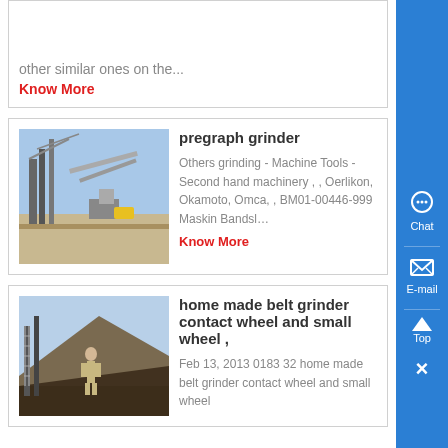other similar ones on the…
Know More
pregraph grinder
[Figure (photo): Industrial machinery/construction site with cranes and conveyors under blue sky]
Others grinding - Machine Tools - Second hand machinery , , Oerlikon, Okamoto, Omca, , BM01-00446-999 Maskin Bandsl…
Know More
home made belt grinder contact wheel and small wheel ,
[Figure (photo): Person standing near industrial mining or construction site with hillside in background]
Feb 13, 2013 0183 32 home made belt grinder contact wheel and small wheel